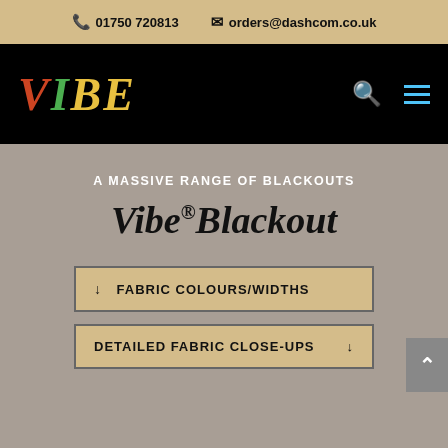📞 01750 720813   ✉ orders@dashcom.co.uk
[Figure (logo): VIBE logo in colorful neon-style letters on black navigation bar with search and hamburger menu icons]
A MASSIVE RANGE OF BLACKOUTS
Vibe®Blackout
↓  FABRIC COLOURS/WIDTHS
DETAILED FABRIC CLOSE-UPS  ↓